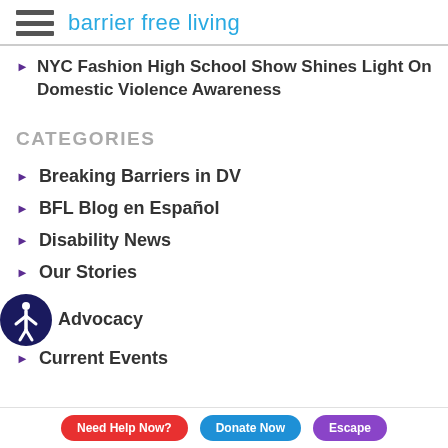barrier free living
NYC Fashion High School Show Shines Light On Domestic Violence Awareness
CATEGORIES
Breaking Barriers in DV
BFL Blog en Español
Disability News
Our Stories
Advocacy
Current Events
Need Help Now? | Donate Now | Escape